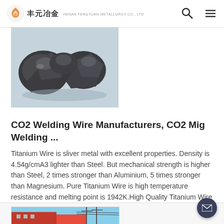丰元冶金
[Figure (photo): Dark gray metallic mineral/ore chunks on a light blue-gray background]
CO2 Welding Wire Manufacturers, CO2 Mig Welding ...
Titanium Wire is sliver metal with excellent properties. Density is 4.54g/cmA3 lighter than Steel. But mechanical strength is higher than Steel, 2 times stronger than Aluminium, 5 times stronger than Magnesium. Pure Titanium Wire is high temperature resistance and melting point is 1942K.High Quality Titanium Wire has low density, light weight, high
[Figure (photo): Partial view of a building/industrial facility with red wall and blue sky]